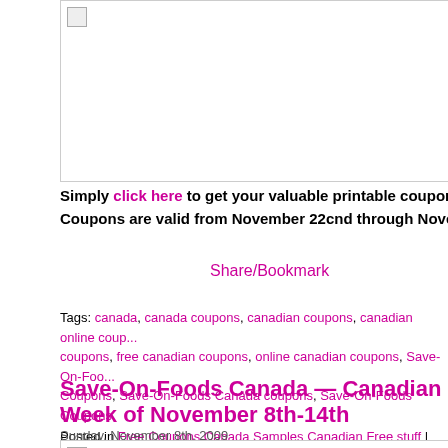[Figure (photo): Image placeholder box at top of page]
Simply click here to get your valuable printable coupons for Save-On-...
Coupons are valid from November 22cnd through November 28th, 20...
Share/Bookmark
Tags: canada, canada coupons, canadian coupons, canadian online coup..., coupons, free canadian coupons, online canadian coupons, Save-On-Foo..., Coupons, Save-On-Foods Canada coupons, Save-On-Foods Coupons
Posted in Free Coupons Canada Samples Canadian Free stuff | Commer...
Save-On-Foods Canada — Canadian Coupe... Week of November 8th-14th
Sunday, November 8th, 2009
[Figure (photo): Image placeholder box at bottom of page]